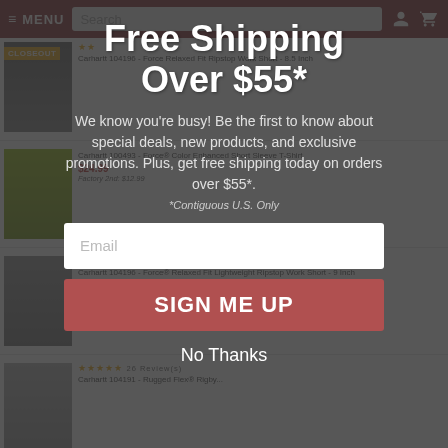[Figure (screenshot): E-commerce website header with dark red/maroon background showing hamburger menu icon, MENU text, search bar, user icon and cart icon]
[Figure (screenshot): Background product listing page showing Carhartt work clothing items including shorts and t-shirts with prices and star ratings]
Free Shipping Over $55*
We know you're busy! Be the first to know about special deals, new products, and exclusive promotions. Plus, get free shipping today on orders over $55*.
*Contiguous U.S. Only
Email
SIGN ME UP
No Thanks